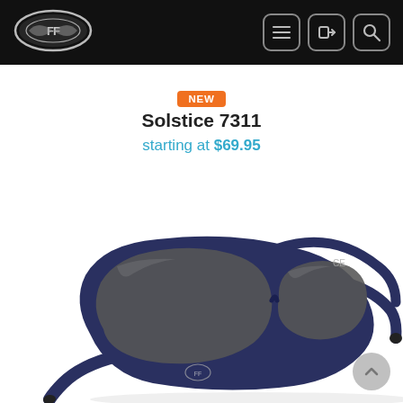Flying Fisherman website header with logo and navigation icons
[Figure (logo): Flying Fisherman brand logo (silver oval emblem with stylized fish/hook design) on black header bar]
NEW
Solstice 7311
starting at $69.95
[Figure (photo): Blue matte-frame wraparound sunglasses (Solstice 7311) with dark grey lenses, shown at an angle, featuring the Flying Fisherman logo embossed on the temple]